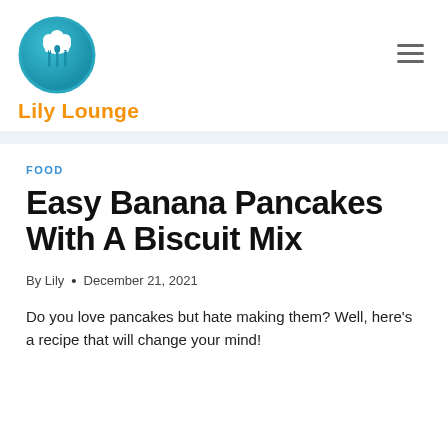[Figure (logo): Lily Lounge logo: teal circular badge with chef hat and fork/spoon/knife icons, orange text 'Lily Lounge' below]
FOOD
Easy Banana Pancakes With A Biscuit Mix
By Lily • December 21, 2021
Do you love pancakes but hate making them? Well, here's a recipe that will change your mind!